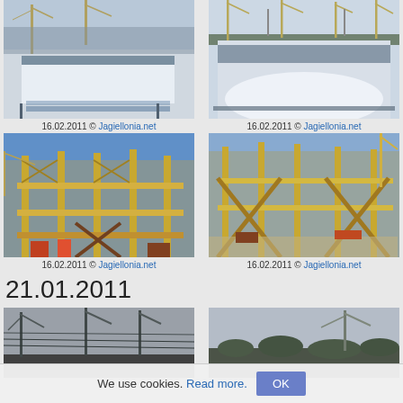[Figure (photo): Stadium construction site with cranes and snow-covered field, view from grandstand, top-left]
16.02.2011 © Jagiellonia.net
[Figure (photo): Stadium construction site with multiple tower cranes, wide view of bowl from outside, top-right]
16.02.2011 © Jagiellonia.net
[Figure (photo): Stadium construction scaffolding and structural framework close-up, yellow beams and cranes, bottom-left]
16.02.2011 © Jagiellonia.net
[Figure (photo): Stadium construction scaffolding and structural bracing close-up, wide view, bottom-right]
16.02.2011 © Jagiellonia.net
21.01.2011
[Figure (photo): Cranes and power lines against grey sky, construction site, partially visible]
[Figure (photo): Crane and tree line against winter sky, construction site, partially visible]
We use cookies. Read more. OK